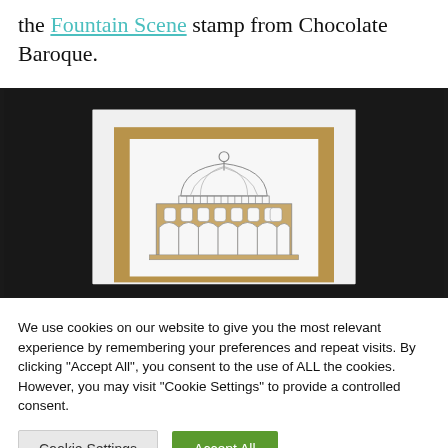the Fountain Scene stamp from Chocolate Baroque.
[Figure (photo): A photograph showing a handmade greeting card with a stamped Fountain Scene image from Chocolate Baroque. The card features a detailed architectural domed building illustration in grey/pencil tones, mounted on a kraft brown mat, placed on a white card base, photographed against a dark/black background.]
We use cookies on our website to give you the most relevant experience by remembering your preferences and repeat visits. By clicking “Accept All”, you consent to the use of ALL the cookies. However, you may visit "Cookie Settings" to provide a controlled consent.
Cookie Settings | Accept All